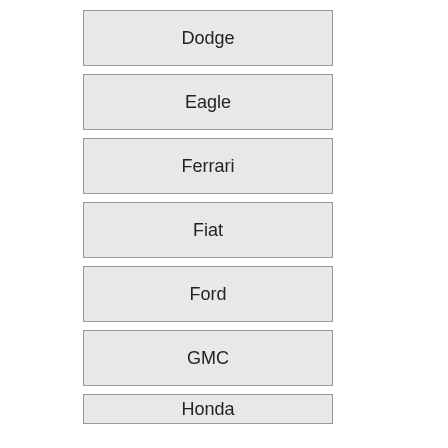Dodge
Eagle
Ferrari
Fiat
Ford
GMC
Honda
Hummer
Hyundai